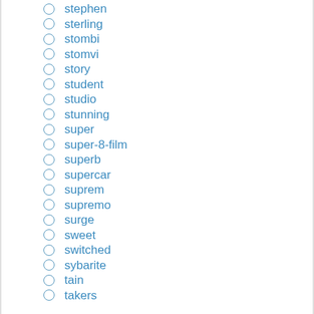stephen
sterling
stombi
stomvi
story
student
studio
stunning
super
super-8-film
superb
supercar
suprem
supremo
surge
sweet
switched
sybarite
tain
takers